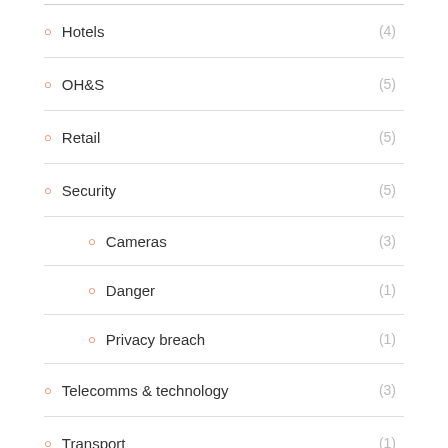Hotels (4)
OH&S (5)
Retail (5)
Security (5)
Cameras (3)
Danger (1)
Privacy breach (1)
Telecomms & technology (3)
Transport (1)